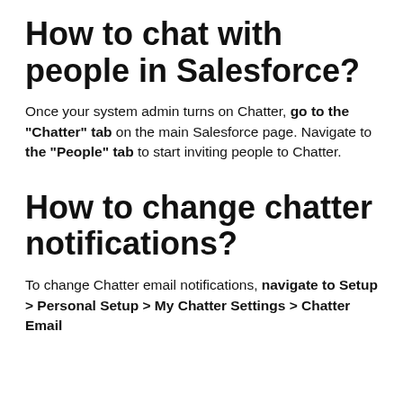How to chat with people in Salesforce?
Once your system admin turns on Chatter, go to the “Chatter” tab on the main Salesforce page. Navigate to the “People” tab to start inviting people to Chatter.
How to change chatter notifications?
To change Chatter email notifications, navigate to Setup > Personal Setup > My Chatter Settings > Chatter Email